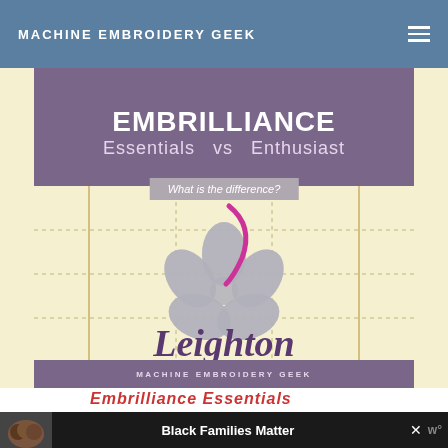MACHINE EMBROIDERY GEEK
[Figure (illustration): Promotional image for Embrilliance Essentials vs Enthusiast comparison. Purple banner at top with 'EMBRILLIANCE' in large white bold text, subtitle 'Essentials vs Enthusiast', gray box with italic text 'What is the difference?'. Cream/yellow grid background with a gray embroidered hibiscus flower and a pink/magenta curved stitch element. Script text 'Leighton' in purple cursive at bottom. Purple footer bar with 'MACHINE EMBROIDERY GEEK' text.]
Embrilliance Essentials
Black Families Matter